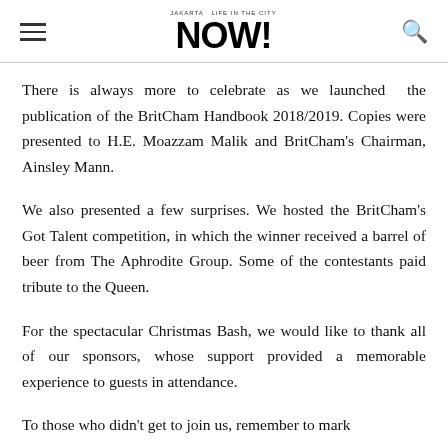NOW! (magazine logo with hamburger menu and search icon)
There is always more to celebrate as we launched the publication of the BritCham Handbook 2018/2019. Copies were presented to H.E. Moazzam Malik and BritCham's Chairman, Ainsley Mann.
We also presented a few surprises. We hosted the BritCham's Got Talent competition, in which the winner received a barrel of beer from The Aphrodite Group. Some of the contestants paid tribute to the Queen.
For the spectacular Christmas Bash, we would like to thank all of our sponsors, whose support provided a memorable experience to guests in attendance.
To those who didn't get to join us, remember to mark